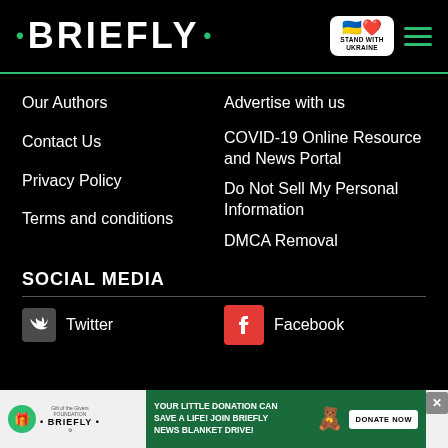• BRIEFLY •
Our Authors
Contact Us
Privacy Policy
Terms and conditions
Advertise with us
COVID-19 Online Resource and News Portal
Do Not Sell My Personal Information
DMCA Removal
SOCIAL MEDIA
Twitter
Facebook
YOUR LITTLE DONATION CAN SAVE A LIFE! JOIN BRIEFLY NEWS BLANKET DRIVE!
DONATE NOW